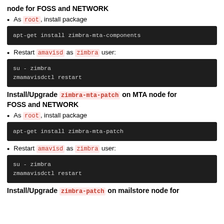node for FOSS and NETWORK
As root, install package
apt-get install zimbra-mta-components
Restart amavisd as zimbra user:
su - zimbra
zmamavisdctl restart
Install/Upgrade zimbra-mta-patch on MTA node for FOSS and NETWORK
As root, install package
apt-get install zimbra-mta-patch
Restart amavisd as zimbra user:
su - zimbra
zmamavisdctl restart
Install/Upgrade zimbra-patch on mailstore node for